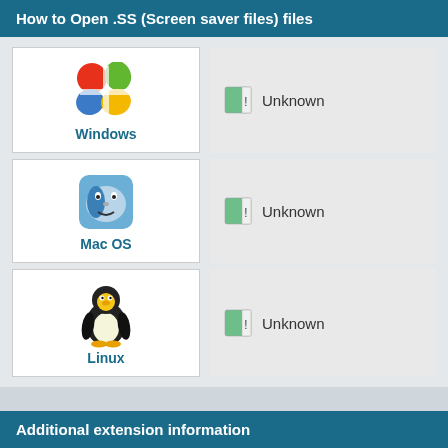How to Open .SS (Screen saver files) files
[Figure (infographic): Three OS rows (Windows, Mac OS, Linux) each with an icon and an 'Unknown' app entry]
Additional extension information